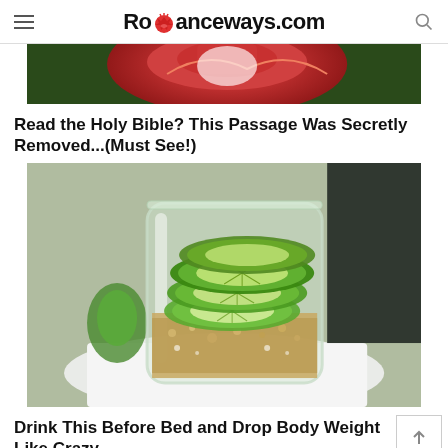Romanceways.com
[Figure (photo): Partial top image showing red fruit, appears to be a lychee or similar red fruit held in hand]
Read the Holy Bible? This Passage Was Secretly Removed...(Must See!)
[Figure (photo): Glass jar containing sliced limes layered with brown sugar or salt crystals on a white surface]
Drink This Before Bed and Drop Body Weight Like Crazy